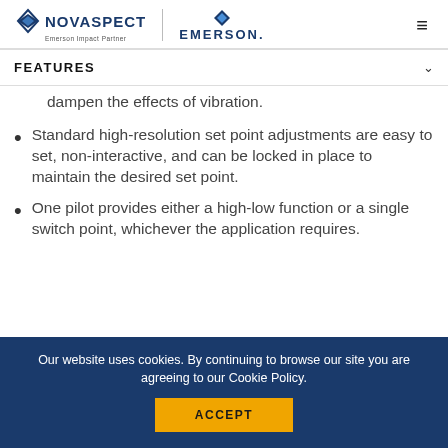NOVASPECT Emerson Impact Partner | EMERSON
FEATURES
dampen the effects of vibration.
Standard high-resolution set point adjustments are easy to set, non-interactive, and can be locked in place to maintain the desired set point.
One pilot provides either a high-low function or a single switch point, whichever the application requires.
Our website uses cookies. By continuing to browse our site you are agreeing to our Cookie Policy.